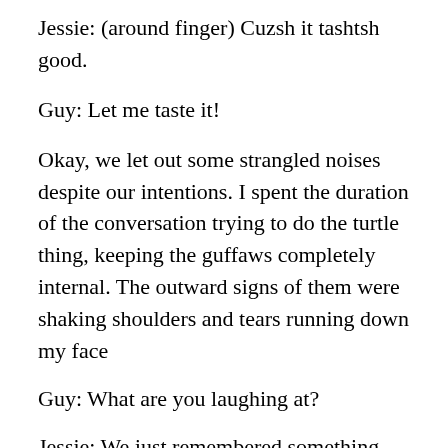Jessie: (around finger) Cuzsh it tashtsh good.
Guy: Let me taste it!
Okay, we let out some strangled noises despite our intentions. I spent the duration of the conversation trying to do the turtle thing, keeping the guffaws completely internal. The outward signs of them were shaking shoulders and tears running down my face
Guy: What are you laughing at?
Jessie: We just remembered something funny that happened this morning.